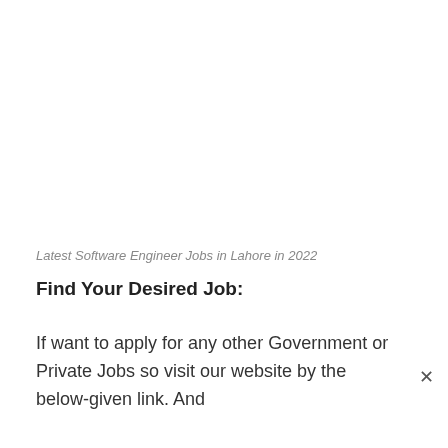Latest Software Engineer Jobs in Lahore in 2022
Find Your Desired Job:
If want to apply for any other Government or Private Jobs so visit our website by the below-given link. And